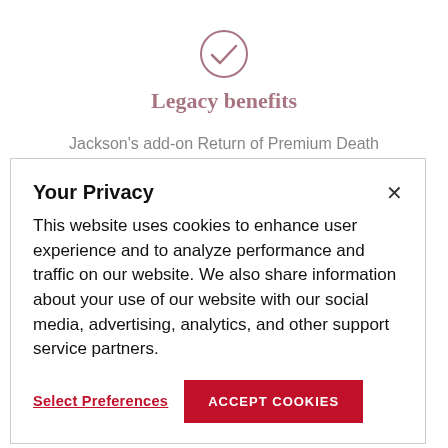[Figure (illustration): Checkmark icon inside a circle, in dark maroon/burgundy color]
Legacy benefits
Jackson's add-on Return of Premium Death
Your Privacy
This website uses cookies to enhance user experience and to analyze performance and traffic on our website. We also share information about your use of our website with our social media, advertising, analytics, and other support service partners.
Select Preferences   ACCEPT COOKIES